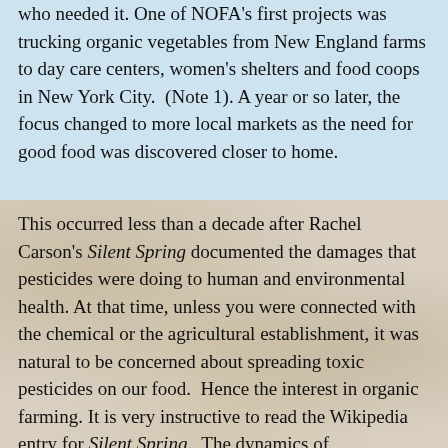who needed it. One of NOFA's first projects was trucking organic vegetables from New England farms to day care centers, women's shelters and food coops in New York City. (Note 1). A year or so later, the focus changed to more local markets as the need for good food was discovered closer to home.
This occurred less than a decade after Rachel Carson's Silent Spring documented the damages that pesticides were doing to human and environmental health. At that time, unless you were connected with the chemical or the agricultural establishment, it was natural to be concerned about spreading toxic pesticides on our food. Hence the interest in organic farming. It is very instructive to read the Wikipedia entry for Silent Spring. The dynamics of environmental issues haven't changed much. Corporations which profit from the industrial paradigm by polluting the environment and damaging human health use bought science, scientism and shady, despicable tactics to discredit the honest messenger. They also use their ill-gotten gains to buy cooperation from their friends in government. Cigarettes, pesticides, GMOs, flame retardants, fossil fuels, hedge funds, lead in paint and fuel, chlorofluorocarbons (CFCs), confined animal feeding operations (CAFOs) and synthetic fertilizers are just some